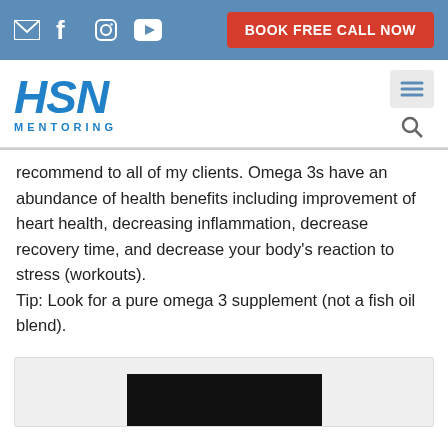BOOK FREE CALL NOW
[Figure (logo): HSN MENTORING logo with blue stylized text and hamburger menu and search icon]
recommend to all of my clients. Omega 3s have an abundance of health benefits including improvement of heart health, decreasing inflammation, decrease recovery time, and decrease your body's reaction to stress (workouts).
Tip: Look for a pure omega 3 supplement (not a fish oil blend).
[Figure (screenshot): Video player thumbnail, dark/black background, partial view at bottom of page]